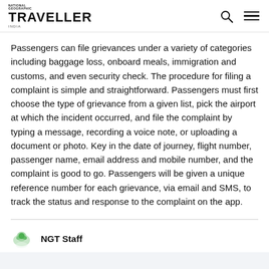National Geographic TRAVELLER
Passengers can file grievances under a variety of categories including baggage loss, onboard meals, immigration and customs, and even security check. The procedure for filing a complaint is simple and straightforward. Passengers must first choose the type of grievance from a given list, pick the airport at which the incident occurred, and file the complaint by typing a message, recording a voice note, or uploading a document or photo. Key in the date of journey, flight number, passenger name, email address and mobile number, and the complaint is good to go. Passengers will be given a unique reference number for each grievance, via email and SMS, to track the status and response to the complaint on the app.
NGT Staff